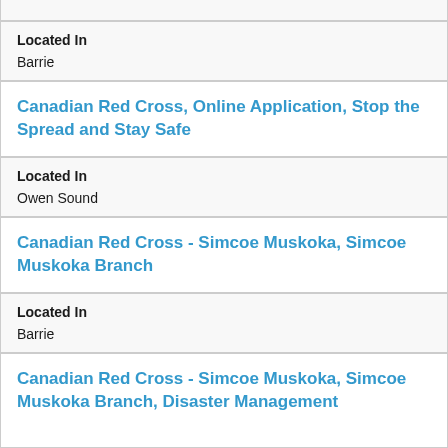Located In
Barrie
Canadian Red Cross, Online Application, Stop the Spread and Stay Safe
Located In
Owen Sound
Canadian Red Cross - Simcoe Muskoka, Simcoe Muskoka Branch
Located In
Barrie
Canadian Red Cross - Simcoe Muskoka, Simcoe Muskoka Branch, Disaster Management